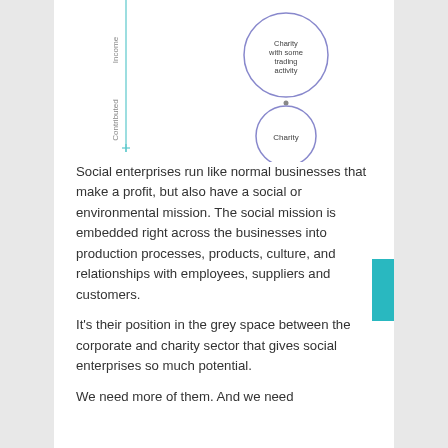[Figure (other): Partial diagram showing vertical axis labels 'Income' and 'Contributed' with a small cross marker, and two overlapping circles on the right labeled 'Charity with some trading activity' (top) and 'Charity' (bottom), connected by a small dot.]
Social enterprises run like normal businesses that make a profit, but also have a social or environmental mission. The social mission is embedded right across the businesses into production processes, products, culture, and relationships with employees, suppliers and customers.
It's their position in the grey space between the corporate and charity sector that gives social enterprises so much potential.
We need more of them. And we need